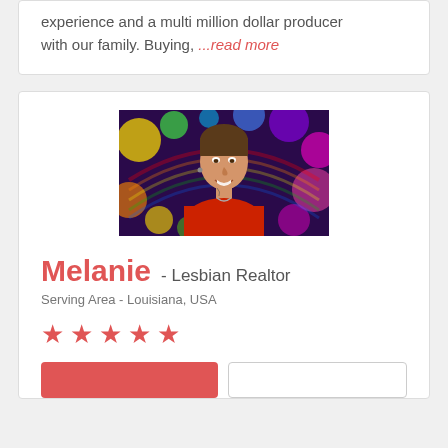experience and a multi million dollar producer with our family. Buying, ...read more
[Figure (photo): Profile photo of Melanie, a lesbian realtor, smiling in a red patterned shirt against a colorful rainbow bokeh background]
Melanie - Lesbian Realtor
Serving Area - Louisiana, USA
★ ★ ★ ★ ★